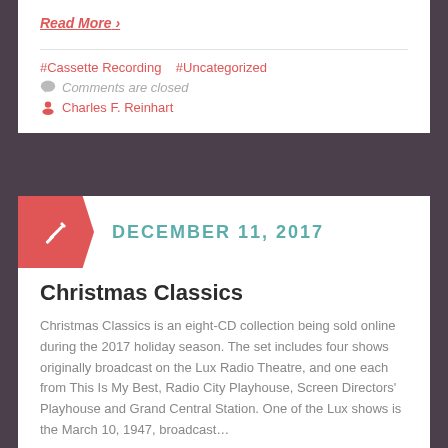Read More ›
#Cassette Recording   #Uncategorized
Comments are closed
Charles F. Reinhart
DECEMBER 11, 2017
Christmas Classics
Christmas Classics is an eight-CD collection being sold online during the 2017 holiday season. The set includes four shows originally broadcast on the Lux Radio Theatre, and one each from This Is My Best, Radio City Playhouse, Screen Directors' Playhouse and Grand Central Station. One of the Lux shows is the March 10, 1947, broadcast…
Read More ›
#CD   #Uncategorized